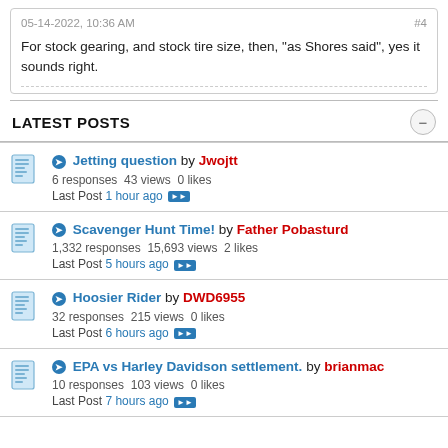05-14-2022, 10:36 AM  #4
For stock gearing, and stock tire size, then, "as Shores said", yes it sounds right.
LATEST POSTS
Jetting question by Jwojtt — 6 responses 43 views 0 likes — Last Post 1 hour ago
Scavenger Hunt Time! by Father Pobasturd — 1,332 responses 15,693 views 2 likes — Last Post 5 hours ago
Hoosier Rider by DWD6955 — 32 responses 215 views 0 likes — Last Post 6 hours ago
EPA vs Harley Davidson settlement. by brianmac — 10 responses 103 views 0 likes — Last Post 7 hours ago